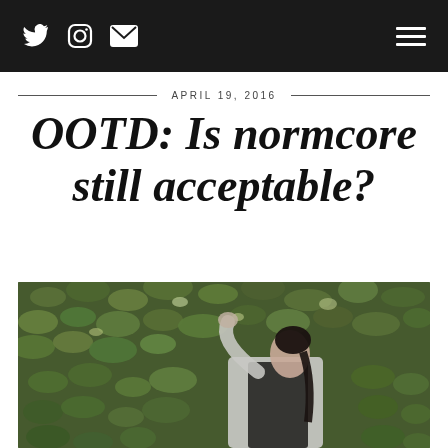Navigation header with Twitter, Instagram, email icons and hamburger menu
APRIL 19, 2016
OOTD: Is normcore still acceptable?
[Figure (photo): A young woman with dark hair in a ponytail, wearing a light grey long-sleeve top and a dark sleeveless vest/pinafore, posing with one arm raised behind her head against a dense green leafy hedge/ivy wall background.]